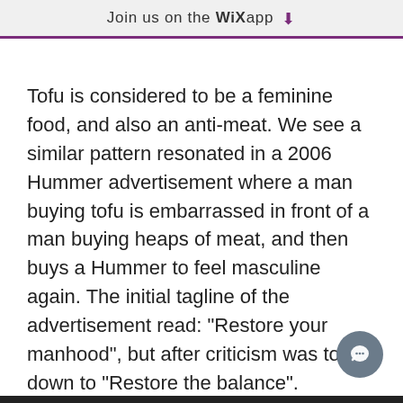Join us on the WiX app ⬇
Tofu is considered to be a feminine food, and also an anti-meat. We see a similar pattern resonated in a 2006 Hummer advertisement where a man buying tofu is embarrassed in front of a man buying heaps of meat, and then buys a Hummer to feel masculine again. The initial tagline of the advertisement read: "Restore your manhood", but after criticism was toned down to "Restore the balance".